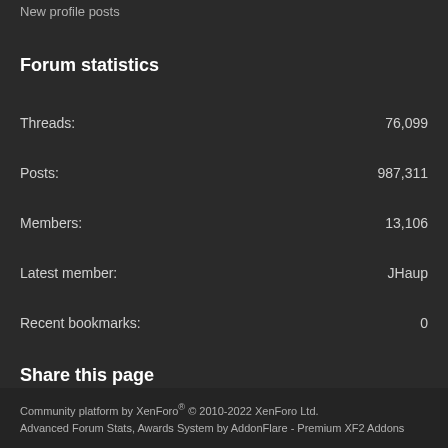New profile posts
Forum statistics
Threads: 76,099
Posts: 987,311
Members: 13,106
Latest member: JHaup
Recent bookmarks: 0
Share this page
[Figure (other): Social share icons: Reddit, Pinterest, Tumblr, WhatsApp, Email, Link]
Community platform by XenForo® © 2010-2022 XenForo Ltd.
Advanced Forum Stats, Awards System by AddonFlare - Premium XF2 Addons